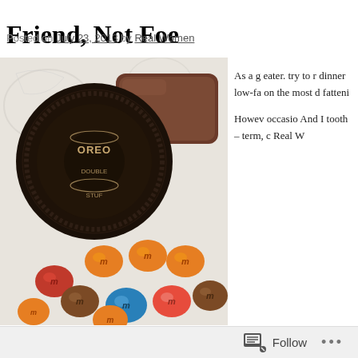Friend, Not Foe
Posted on July 23, 2013 by Real Women
[Figure (photo): A photo showing an Oreo Double Stuf cookie, a rectangular chocolate candy bar, and a pile of M&M candies in various colors (red, orange, blue, brown) arranged on a white surface.]
As a g eater. try to r dinner low-fa on the most d fatteni Howev occasio And I tooth – term, c Real W
Follow ...